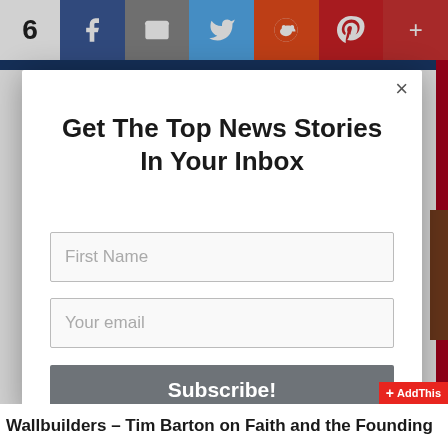[Figure (screenshot): Social share bar with count '6', Facebook, Email, Twitter, Reddit, Pinterest, and More buttons]
Get The Top News Stories In Your Inbox
[Figure (screenshot): Email subscription form with First Name field, Your email field, and Subscribe! button]
Wallbuilders – Tim Barton on Faith and the Founding